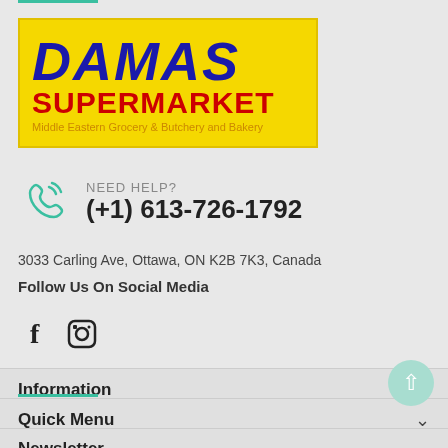[Figure (logo): Damas Supermarket logo on yellow background with blue italic DAMAS text, red SUPERMARKET text, and orange subtitle 'Middle Eastern Grocery & Butchery and Bakery']
NEED HELP?
(+1) 613-726-1792
3033 Carling Ave, Ottawa, ON K2B 7K3, Canada
Follow Us On Social Media
[Figure (other): Facebook and Instagram social media icons]
Information
Quick Menu
Newsletter